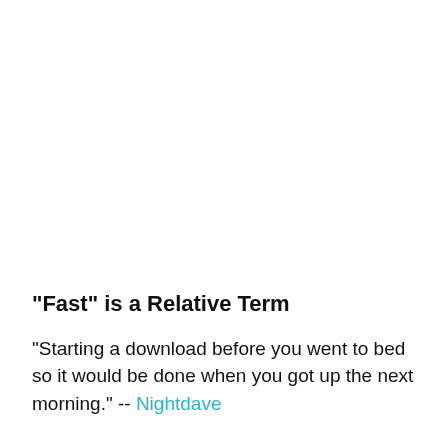"Fast" is a Relative Term
"Starting a download before you went to bed so it would be done when you got up the next morning." -- Nightdave